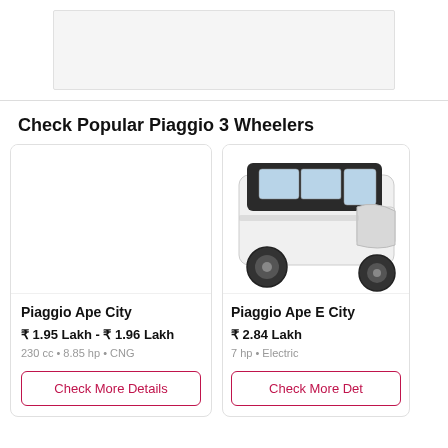[Figure (other): Gray placeholder image box at the top of the page]
Check Popular Piaggio 3 Wheelers
[Figure (photo): Card for Piaggio Ape City with blank image area]
Piaggio Ape City
₹ 1.95 Lakh - ₹ 1.96 Lakh
230 cc • 8.85 hp • CNG
Check More Details
[Figure (photo): Card for Piaggio Ape E City showing a white three-wheeler auto-rickshaw with dark roof]
Piaggio Ape E City
₹ 2.84 Lakh
7 hp • Electric
Check More Det